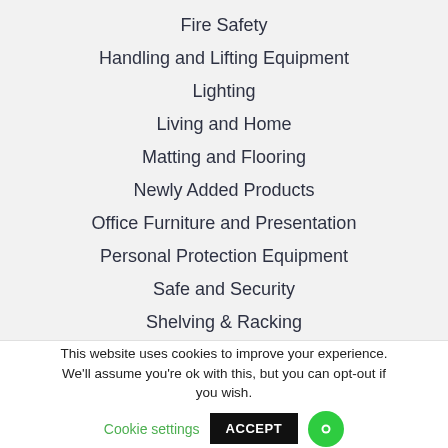Fire Safety
Handling and Lifting Equipment
Lighting
Living and Home
Matting and Flooring
Newly Added Products
Office Furniture and Presentation
Personal Protection Equipment
Safe and Security
Shelving & Racking
Signs & Safety Solutions
Site Safety and Premises Maintenance
This website uses cookies to improve your experience. We'll assume you're ok with this, but you can opt-out if you wish. Cookie settings ACCEPT